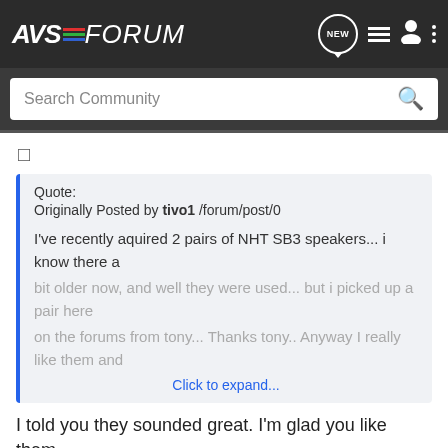AVS FORUM - navigation bar with NEW, list, user, and menu icons
Search Community
☐
Quote:
Originally Posted by tivo1 /forum/post/0

I've recently aquired 2 pairs of NHT SB3 speakers... i know there a bit older now, and well they were used... but i picked up a pair here on the forums from tony... Thanks tony.. Anyway I really like them and
Click to expand...
I told you they sounded great. I'm glad you like them.
[Figure (screenshot): SVS SoundPath Audio Accessories advertisement banner]
Tony